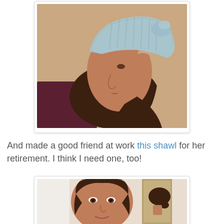[Figure (photo): A woman in profile view wearing a hand-knitted light blue/grey cable-knit slouchy beanie hat, with long dark brown hair, against a warm beige background.]
And made a good friend at work this shawl for her retirement. I think I need one, too!
[Figure (photo): A young woman with dark hair pulled back, facing forward with a slight smile, with a mirror reflection visible showing her hair from behind, in a bright indoor setting.]